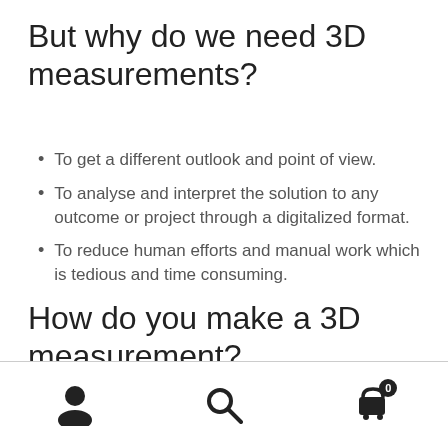But why do we need 3D measurements?
To get a different outlook and point of view.
To analyse and interpret the solution to any outcome or project through a digitalized format.
To reduce human efforts and manual work which is tedious and time consuming.
How do you make a 3D measurement?
[Figure (other): Footer navigation bar with user account icon, search icon, and cart icon with badge showing 0]